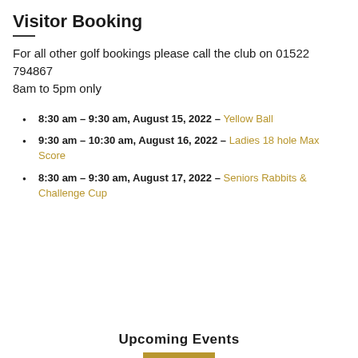Visitor Booking
For all other golf bookings please call the club on 01522 794867
8am to 5pm only
8:30 am – 9:30 am, August 15, 2022 – Yellow Ball
9:30 am – 10:30 am, August 16, 2022 – Ladies 18 hole Max Score
8:30 am – 9:30 am, August 17, 2022 – Seniors Rabbits & Challenge Cup
Upcoming Events